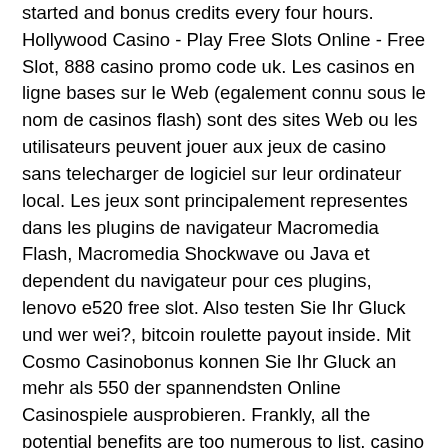started and bonus credits every four hours. Hollywood Casino - Play Free Slots Online - Free Slot, 888 casino promo code uk. Les casinos en ligne bases sur le Web (egalement connu sous le nom de casinos flash) sont des sites Web ou les utilisateurs peuvent jouer aux jeux de casino sans telecharger de logiciel sur leur ordinateur local. Les jeux sont principalement representes dans les plugins de navigateur Macromedia Flash, Macromedia Shockwave ou Java et dependent du navigateur pour ces plugins, lenovo e520 free slot. Also testen Sie Ihr Gluck und wer wei?, bitcoin roulette payout inside. Mit Cosmo Casinobonus konnen Sie Ihr Gluck an mehr als 550 der spannendsten Online Casinospiele ausprobieren. Frankly, all the potential benefits are too numerous to list, casino royale games free. Island Resort & Casino poker room. Play for the jackpot on free slots like Siberian Storm, Wolf Run, and